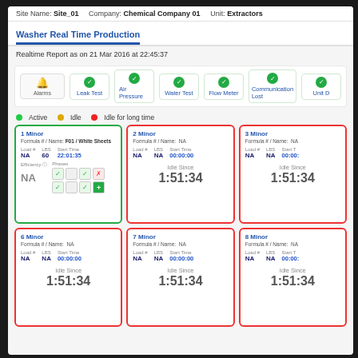Site Name: Site_01   Company: Chemical Company 01   Unit: Extractors
Washer Real Time Production
Realtime Report as on 21 Mar 2016 at 22:45:37
[Figure (screenshot): Status panel with Alarms bell icon, and green check status indicators for Leak Test, Air Pressure, Water Test, Flow Meter, Communication Lost, Unit D]
Active   Idle   Idle for long time
| Machine | Formula/Name | Load # | LBS | Start Time | Efficiency | Phases | Idle Since |
| --- | --- | --- | --- | --- | --- | --- | --- |
| 1 Minor | F01 / White Sheets | NA | 60 | 22:01:35 | NA | checked phases | — |
| 2 Minor | NA | NA | NA | 00:00:00 | — | — | 1:51:34 |
| 3 Minor | NA | NA | NA | 00:00 | — | — | 1:51:34 |
| 6 Minor | NA | NA | NA | 00:00:00 | — | — | 1:51:34 |
| 7 Minor | NA | NA | NA | 00:00:00 | — | — | 1:51:34 |
| 8 Minor | NA | NA | NA | 00:00 | — | — | 1:51:34 |